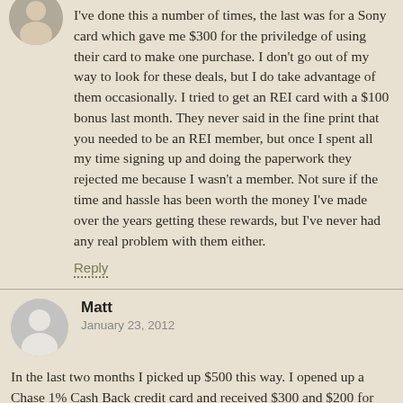I've done this a number of times, the last was for a Sony card which gave me $300 for the priviledge of using their card to make one purchase. I don't go out of my way to look for these deals, but I do take advantage of them occasionally. I tried to get an REI card with a $100 bonus last month. They never said in the fine print that you needed to be an REI member, but once I spent all my time signing up and doing the paperwork they rejected me because I wasn't a member. Not sure if the time and hassle has been worth the money I've made over the years getting these rewards, but I've never had any real problem with them either.
Reply
Matt
January 23, 2012
In the last two months I picked up $500 this way. I opened up a Chase 1% Cash Back credit card and received $300 and $200 for opening up a checking account with Chase. The $500 went to pay off the rest of my auto loan (the last auto loan I will ever have). Nice way to start the New Year.
Reply